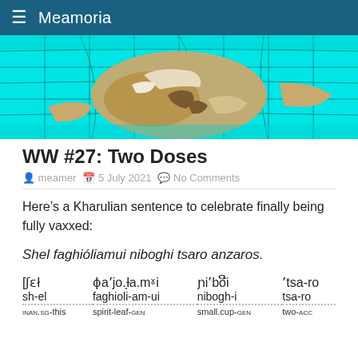Meamoria
[Figure (illustration): Decorative world map banner image with cyan ocean background and tan/brown landmasses with curved longitude/latitude lines]
WW #27: Two Doses
meamer  5 July 2021  No Comments
Here’s a Kharulian sentence to celebrate finally being fully vaxxed:
Shel faghióliamui niboghi tsaro anzaros.
| col1 | col2 | col3 | col4 |
| --- | --- | --- | --- |
| [ʃɛł | φaʾjo.Ꭲa.mˣi | ɳiʾboີi | ʼtsa-ro |
| sh-el | faghioli-am-ui | nibogh-i | tsa-ro |
| INAN.SG-this | spirit-leaf-GEN | small.cup-GEN | two-ACC |